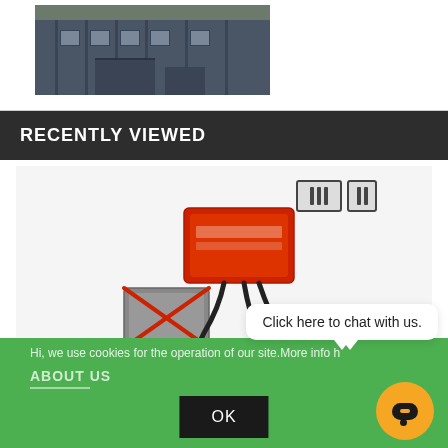[Figure (photo): Partial view of a building exterior with dark grey metal cladding and windows]
RECENTLY VIEWED
[Figure (photo): Suzuki VS1400 CDI unit (red box) with connectors and wiring harness, with crossed-out old grey CDI unit]
Suzuki VS1400 CDI J4T02171 J4T02471
Click here to chat with us.
Hi, we use cookies for the operation of our site.More info h
ABOUT US
OK